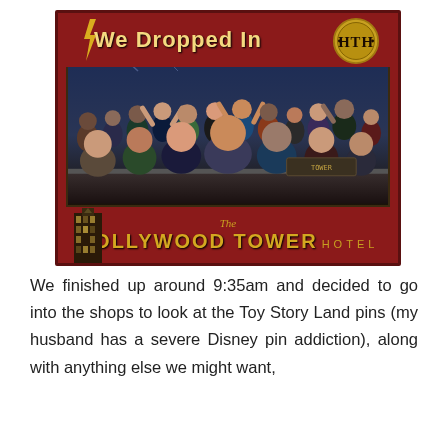[Figure (photo): Hollywood Tower Hotel ride photo card showing a group of people on the Tower of Terror ride. Red background with 'We Dropped In' text at top in yellow, HTH circular logo in top right, group photo in center, and 'The HOLLYWOOD TOWER HOTEL' text at bottom in gold on red.]
We finished up around 9:35am and decided to go into the shops to look at the Toy Story Land pins (my husband has a severe Disney pin addiction), along with anything else we might want,